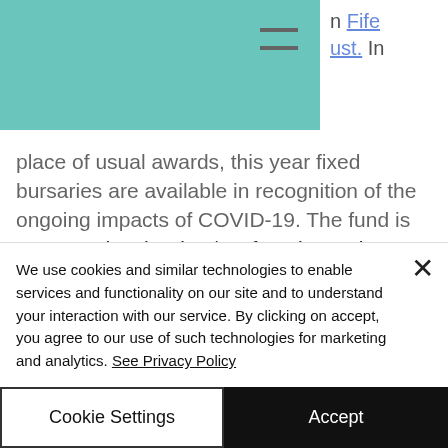Fife ust. In
place of usual awards, this year fixed bursaries are available in recognition of the ongoing impacts of COVID-19. The fund is open to Visual Artists/Craft Makers who can demonstrate a commitment to developing their creative practice and are living, working or maintaining a studio space within the
We use cookies and similar technologies to enable services and functionality on our site and to understand your interaction with our service. By clicking on accept, you agree to our use of such technologies for marketing and analytics. See Privacy Policy
Cookie Settings
Accept